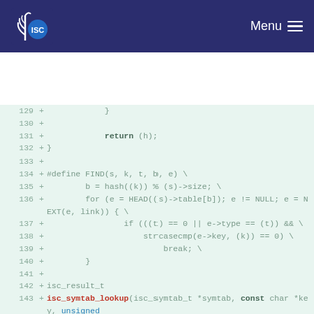ISC — Menu
[Figure (screenshot): Code diff viewer showing lines 129–143 of C source code with line numbers and '+' markers on green background. Lines include closing braces, return statement, #define FIND macro, and isc_symtab_lookup function beginning.]